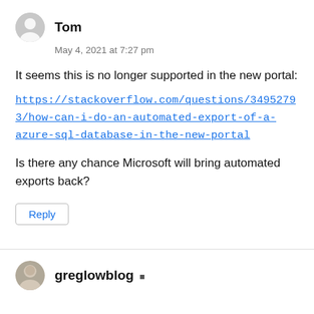Tom
May 4, 2021 at 7:27 pm
It seems this is no longer supported in the new portal:
https://stackoverflow.com/questions/34952793/how-can-i-do-an-automated-export-of-a-azure-sql-database-in-the-new-portal
Is there any chance Microsoft will bring automated exports back?
Reply
greglowblog